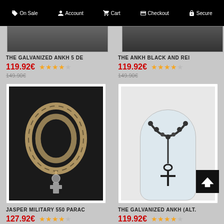On Sale  Account  Cart  Checkout  Secure
[Figure (photo): Partial top image of first product (cropped)]
[Figure (photo): Partial top image of second product (cropped)]
THE GALVANIZED ANKH 5 DE
THE ANKH BLACK AND REI
119.92€
119.92€
149.90€
149.90€
[Figure (photo): Jasper military 550 paracord rosary necklace with beads and cross pendant on black background]
[Figure (photo): Galvanized ankh necklace with cross pendant displayed on white bust/mannequin]
JASPER MILITARY 550 PARAC
THE GALVANIZED ANKH (ALT.
127.92€
119.92€
159.90€
149.90€
[Figure (photo): Partial bottom image of third product (cropped)]
[Figure (photo): Partial bottom image of fourth product with blue beads (cropped)]